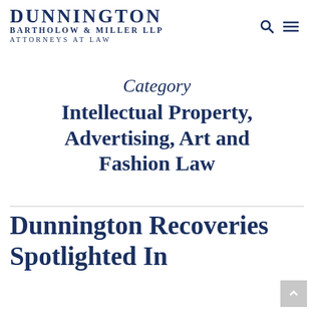DUNNINGTON BARTHOLOW & MILLER LLP ATTORNEYS AT LAW
Category
Intellectual Property, Advertising, Art and Fashion Law
Dunnington Recoveries Spotlighted In